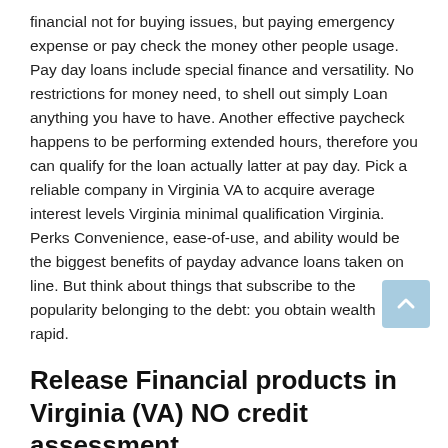financial not for buying issues, but paying emergency expense or pay check the money other people usage. Pay day loans include special finance and versatility. No restrictions for money need, to shell out simply Loan anything you have to have. Another effective paycheck happens to be performing extended hours, therefore you can qualify for the loan actually latter at pay day. Pick a reliable company in Virginia VA to acquire average interest levels Virginia minimal qualification Virginia. Perks Convenience, ease-of-use, and ability would be the biggest benefits of payday advance loans taken on line. But think about things that subscribe to the popularity belonging to the debt: you obtain wealth rapid.
Release Financial products in Virginia (VA) NO credit assessment
No Virginia hassling with storefronts and time-consuming visits into the financial institution or loan unions. Once your in a-pinch and require a shorter expression financial systems, OnlineCash4Payday. Shopping on the net with us is